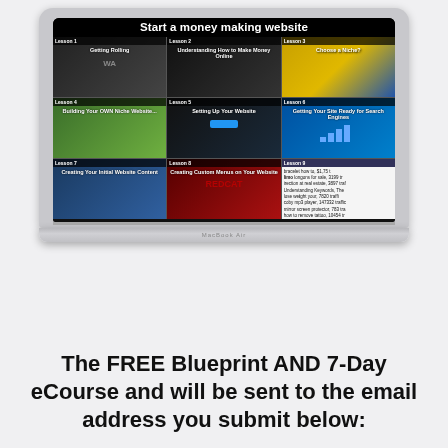[Figure (screenshot): A MacBook laptop displaying a course page titled 'Start a money making website' with a 3x3 grid of lesson thumbnails: Lesson 1 Getting Rolling, Lesson 2 Understanding How to Make Money Online, Lesson 3 Choose a Niche, Lesson 4 Building Your OWN Niche Website, Lesson 5 Setting Up Your Website, Lesson 6 Getting Your Site Ready for Search Engines, Lesson 7 Creating Your Initial Website Content, Lesson 8 Creating Custom Menus on Your Website, Lesson 9 Understanding Keywords.]
The FREE Blueprint AND 7-Day eCourse and will be sent to the email address you submit below: